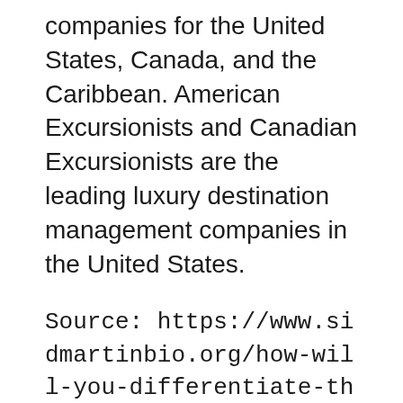companies for the United States, Canada, and the Caribbean. American Excursionists and Canadian Excursionists are the leading luxury destination management companies in the United States.
Source: https://www.sidmartinbio.org/how-will-you-differentiate-the-tourist-from-excursionist-set-some-example/